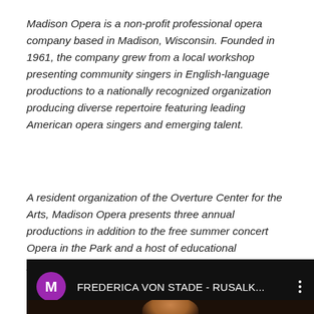Madison Opera is a non-profit professional opera company based in Madison, Wisconsin. Founded in 1961, the company grew from a local workshop presenting community singers in English-language productions to a nationally recognized organization producing diverse repertoire featuring leading American opera singers and emerging talent.
A resident organization of the Overture Center for the Arts, Madison Opera presents three annual productions in addition to the free summer concert Opera in the Park and a host of educational programming.
[Figure (screenshot): YouTube video thumbnail showing a purple channel icon with letter M, video title 'FREDERICA VON STADE - RUSALK...' on dark background with a portrait photo of a woman looking upward, and a vertical three-dot menu icon on the right.]